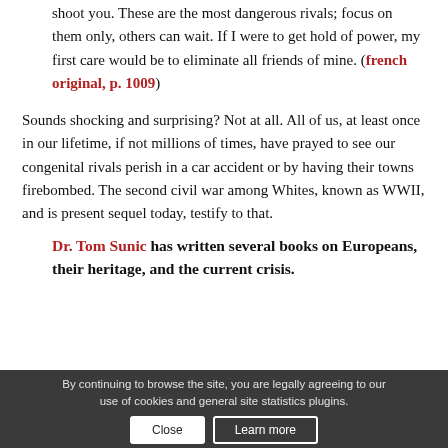shoot you. These are the most dangerous rivals; focus on them only, others can wait. If I were to get hold of power, my first care would be to eliminate all friends of mine. (french original, p. 1009)
Sounds shocking and surprising? Not at all. All of us, at least once in our lifetime, if not millions of times, have prayed to see our congenital rivals perish in a car accident or by having their towns firebombed. The second civil war among Whites, known as WWII, and is present sequel today, testify to that.
Dr. Tom Sunic has written several books on Europeans, their heritage, and the current crisis.
[Figure (screenshot): Social sharing buttons: Like button, Facebook, Twitter, Tweet button, WhatsApp, Email, and other sharing icons]
By continuing to browse the site, you are legally agreeing to our use of cookies and general site statistics plugins.
Share this en...